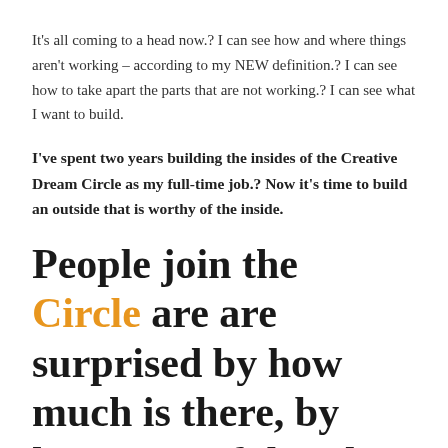It's all coming to a head now.? I can see how and where things aren't working – according to my NEW definition.? I can see how to take apart the parts that are not working.? I can see what I want to build.
I've spent two years building the insides of the Creative Dream Circle as my full-time job.? Now it's time to build an outside that is worthy of the inside.
People join the Circle are are surprised by how much is there, by how powerful and transformational it is.